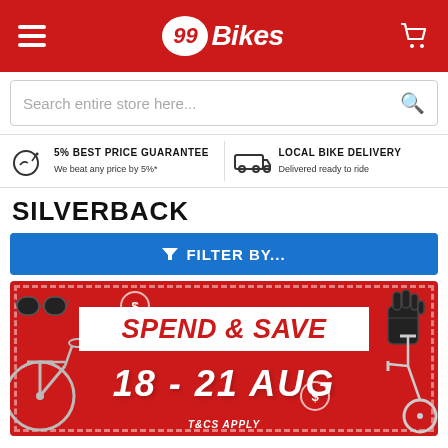[Figure (logo): 99Bikes logo with red oval and white text on red header bar, hamburger menu icon on left, cart icon on right]
Search entire store here...
5% BEST PRICE GUARANTEE
We beat any price by 5%*
LOCAL BIKE DELIVERY
Delivered ready to ride
SILVERBACK
FILTER BY...
[Figure (infographic): Red promotional banner for 99Bikes Spend & Save event, 18-21 Aug, with T&Cs Apply. Shows bike, sunglasses, gloves, scooter imagery.]